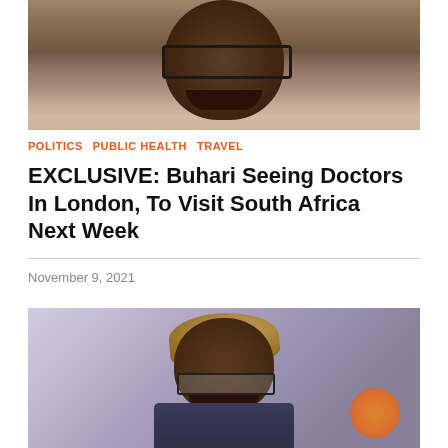[Figure (photo): Close-up photo of Muhammadu Buhari smiling, wearing glasses, dark skin, cropped to face and upper chest]
POLITICS  PUBLIC HEALTH  TRAVEL
EXCLUSIVE: Buhari Seeing Doctors In London, To Visit South Africa Next Week
November 9, 2021
[Figure (photo): Photo of a person wearing traditional Nigerian attire including a cap (fila), smiling, glasses, with an orange circular object visible at bottom right]